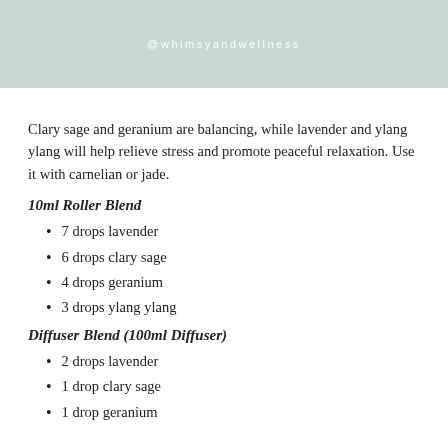@whimsyandwellness
Clary sage and geranium are balancing, while lavender and ylang ylang will help relieve stress and promote peaceful relaxation. Use it with carnelian or jade.
10ml Roller Blend
7 drops lavender
6 drops clary sage
4 drops geranium
3 drops ylang ylang
Diffuser Blend (100ml Diffuser)
2 drops lavender
1 drop clary sage
1 drop geranium